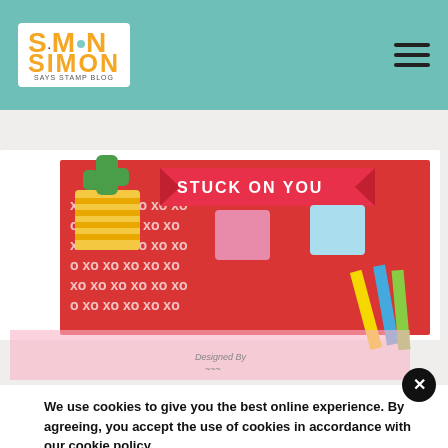Simon Says Stamp Blog
[Figure (photo): Craft card with red background showing 'STUCK ON YOU' banner, cactus in yellow striped pot, XO pattern, and colored pencils/markers visible at the right edge. Watermark 'Designed By' visible.]
We use cookies to give you the best online experience. By agreeing, you accept the use of cookies in accordance with our cookie policy.
DECLINE
I ACCEPT
Privacy Policy  Cookie Policy
Bee Sentiment Banner with white embossing powder. I